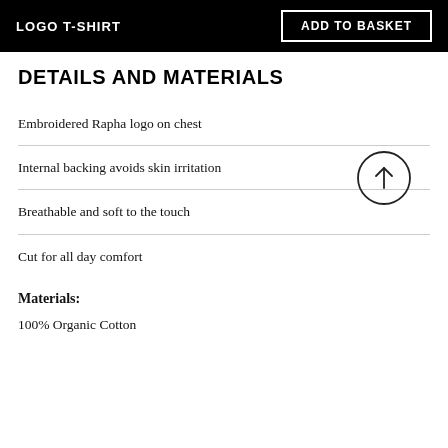LOGO T-SHIRT
DETAILS AND MATERIALS
Embroidered Rapha logo on chest
Internal backing avoids skin irritation
Breathable and soft to the touch
Cut for all day comfort
Materials:
100% Organic Cotton